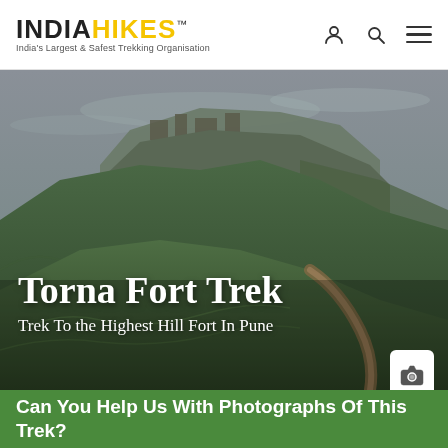INDIAHIKES™ — India's Largest & Safest Trekking Organisation
[Figure (photo): Aerial/landscape view of Torna Fort hill covered in lush green vegetation with rocky fort structure visible at the top, moody overcast sky.]
Torna Fort Trek
Trek To the Highest Hill Fort In Pune
Can You Help Us With Photographs Of This Trek?